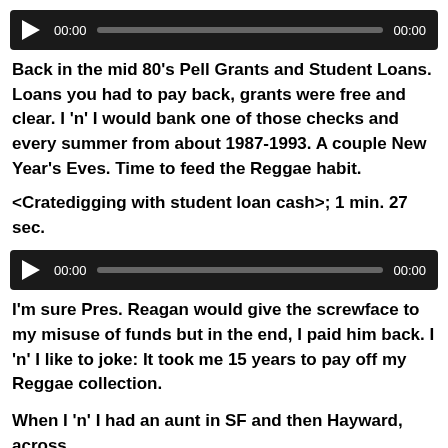[Figure (other): Audio player with play button, progress bar, 00:00 start time and 00:00 end time on dark background]
Back in the mid 80's Pell Grants and Student Loans. Loans you had to pay back, grants were free and clear. I 'n' I would bank one of those checks and every summer from about 1987-1993. A couple New Year's Eves. Time to feed the Reggae habit.
<Cratedigging with student loan cash>; 1 min. 27 sec.
[Figure (other): Audio player with play button, progress bar, 00:00 start time and 00:00 end time on dark background]
I'm sure Pres. Reagan would give the screwface to my misuse of funds but in the end, I paid him back. I 'n' I like to joke: It took me 15 years to pay off my Reggae collection.
When I 'n' I had an aunt in SF and then Hayward, across